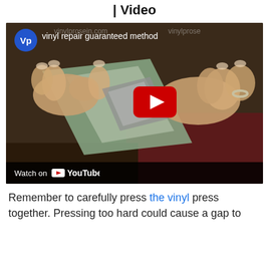| Video
[Figure (screenshot): YouTube embedded video thumbnail showing hands pressing vinyl material together. Video title: 'vinyl repair guaranteed method'. VP (VinylPro) logo in top left. Red YouTube play button in center. 'Watch on YouTube' bar at bottom. Watermarks 'vinylprosein.com' visible at top.]
Remember to carefully press the vinyl press together. Pressing too hard could cause a gap to